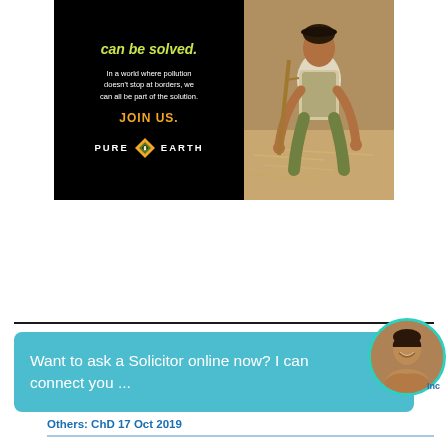[Figure (illustration): Pure Earth advertisement banner with black left panel showing tagline 'can be solved.', descriptive text 'In a world where pollution doesn't stop at borders, we can all be part of the solution.', 'JOIN US.' in orange, and Pure Earth logo. Right panel shows a photo of a person kneeling and working with materials on the ground.]
[Figure (screenshot): Chat widget with teal/blue background showing text 'Want to ask a Solicitor online now? I can connect you ...' with a circular avatar photo of a smiling woman on the right side.]
Others: ChD 17 Oct 2019